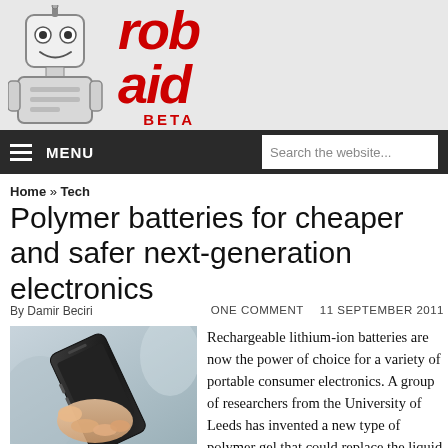[Figure (logo): Robaid website logo with cartoon robot on left and red italic 'robaid' text with 'BETA' below]
MENU  Search the website...
Home » Tech
Polymer batteries for cheaper and safer next-generation electronics
By Damir Beciri    ONE COMMENT    11 SEPTEMBER 2011
[Figure (photo): Hand holding a black smartphone]
Rechargeable lithium-ion batteries are now the power of choice for a variety of portable consumer electronics. A group of researchers from the University of Leeds has invented a new type of polymer gel that could replace the liquid electrolytes currently used in rechargeable lithium cells. It would